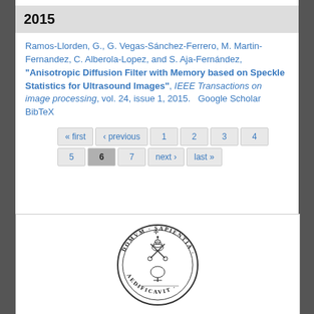2015
Ramos-Llorden, G., G. Vegas-Sánchez-Ferrero, M. Martin-Fernandez, C. Alberola-Lopez, and S. Aja-Fernández, "Anisotropic Diffusion Filter with Memory based on Speckle Statistics for Ultrasound Images", IEEE Transactions on image processing, vol. 24, issue 1, 2015.  Google Scholar BibTeX
« first
‹ previous
1
2
3
4
5
6
7
next ›
last »
[Figure (logo): University seal/crest: circular emblem with Latin text 'DOMVM SAPIENTIA AEDIFICAVIT' around border, with coat of arms imagery in center including crossed keys and a tree]